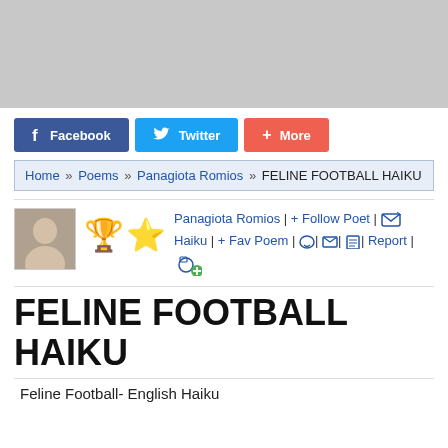[Figure (photo): Gray banner image placeholder at top of page]
Facebook  Twitter  + More
Home » Poems » Panagiota Romios » FELINE FOOTBALL HAIKU
[Figure (photo): Author avatar, flame trophy, and star trophy icons with author links: Panagiota Romios | + Follow Poet | envelope icon | Haiku | + Fav Poem | speech bubble | mail | printer | Report | camera+ icon]
FELINE FOOTBALL HAIKU
Feline Football- English Haiku